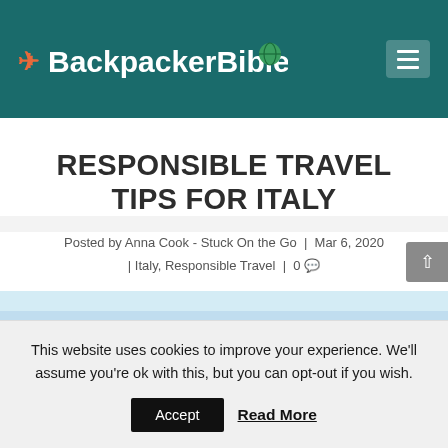Backpacker Bible
RESPONSIBLE TRAVEL TIPS FOR ITALY
Posted by Anna Cook - Stuck On the Go | Mar 6, 2020 | Italy, Responsible Travel | 0
[Figure (photo): Partial sky/outdoor photo strip at the bottom of the article header area]
This website uses cookies to improve your experience. We'll assume you're ok with this, but you can opt-out if you wish.
Accept   Read More